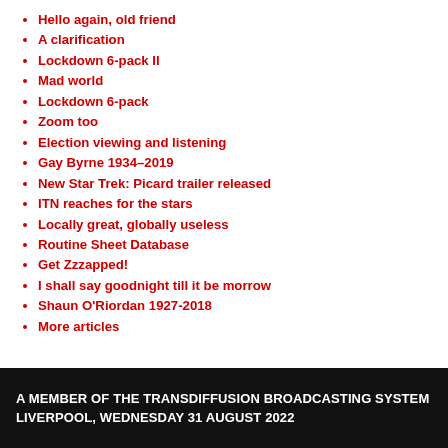Hello again, old friend
A clarification
Lockdown 6-pack II
Mad world
Lockdown 6-pack
Zoom too
Election viewing and listening
Gay Byrne 1934–2019
New Star Trek: Picard trailer released
ITN reaches for the stars
Locally great, globally useless
Routine Sheet Database
Get Zzzapped!
I shall say goodnight till it be morrow
Shaun O'Riordan 1927-2018
More articles
A MEMBER OF THE TRANSDIFFUSION BROADCASTING SYSTEM
LIVERPOOL, WEDNESDAY 31 AUGUST 2022